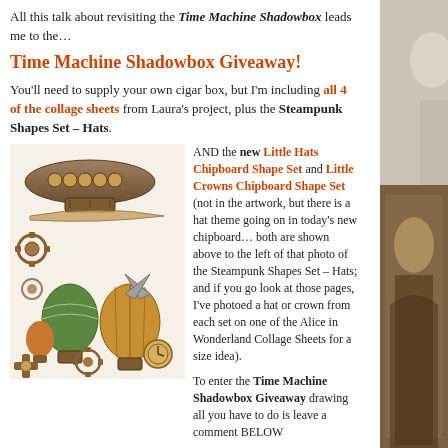All this talk about revisiting the Time Machine Shadowbox leads me to the…
Time Machine Shadowbox Giveaway!
You'll need to supply your own cigar box, but I'm including all 4 of the collage sheets from Laura's project, plus the Steampunk Shapes Set – Hats.
[Figure (illustration): Steampunk collage sheet showing airship, hot air balloons, gears, clocks, and various steampunk elements]
AND the new Little Hats Chipboard Shape Set and Little Crowns Chipboard Shape Set (not in the artwork, but there is a hat theme going on in today's new chipboard… both are shown above to the left of that photo of the Steampunk Shapes Set – Hats; and if you go look at those pages, I've photoed a hat or crown from each set on one of the Alice in Wonderland Collage Sheets for a size idea).
To enter the Time Machine Shadowbox Giveaway drawing all you have to do is leave a comment BELOW on this blog post TODAY or TOMORROW (the deadline is 11:59 pm PST, Friday Night, March 29, 2019).
And what are you going to make?
Don't forget to leave your (hello!) correct email address, too, so I can contact the winner; your email address does not need to be made public. Note: I'm offering free shipping, too, but only within the USA. International